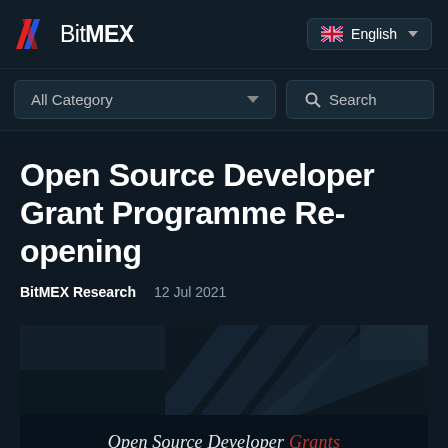BitMEX | English
Open Source Developer Grant Programme Re-opening
BitMEX Research   12 Jul 2021
[Figure (screenshot): Dark geometric pattern background with overlapping dark gray and black rectangles/chevrons forming a diagonal pattern]
[Figure (screenshot): Dark banner with text 'Open Source Developer Grants' where Grants is styled in red/orange italic serif font]